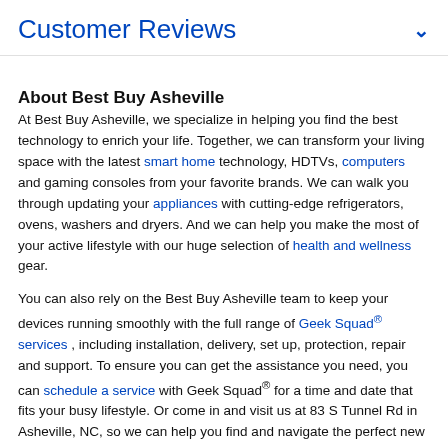Customer Reviews
About Best Buy Asheville
At Best Buy Asheville, we specialize in helping you find the best technology to enrich your life. Together, we can transform your living space with the latest smart home technology, HDTVs, computers and gaming consoles from your favorite brands. We can walk you through updating your appliances with cutting-edge refrigerators, ovens, washers and dryers. And we can help you make the most of your active lifestyle with our huge selection of health and wellness gear.
You can also rely on the Best Buy Asheville team to keep your devices running smoothly with the full range of Geek Squad® services , including installation, delivery, set up, protection, repair and support. To ensure you can get the assistance you need, you can schedule a service with Geek Squad® for a time and date that fits your busy lifestyle. Or come in and visit us at 83 S Tunnel Rd in Asheville, NC, so we can help you find and navigate the perfect new camera, cell phone, TV , video games and more.
Can’t make it to the Best Buy Asheville? Don’t worry — visit our discover & learn with our detailed Shopping Guides, in-depth How-